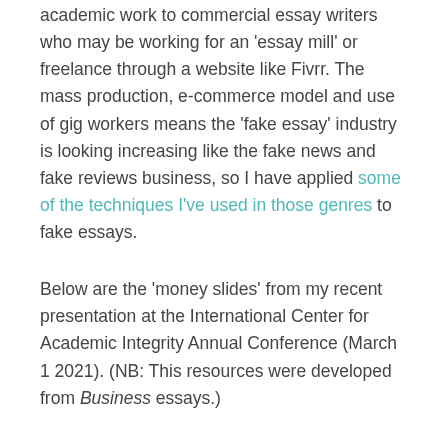academic work to commercial essay writers who may be working for an 'essay mill' or freelance through a website like Fivrr. The mass production, e-commerce model and use of gig workers means the 'fake essay' industry is looking increasing like the fake news and fake reviews business, so I have applied some of the techniques I've used in those genres to fake essays.
Below are the 'money slides' from my recent presentation at the International Center for Academic Integrity Annual Conference (March 1 2021). (NB: This resources were developed from Business essays.)